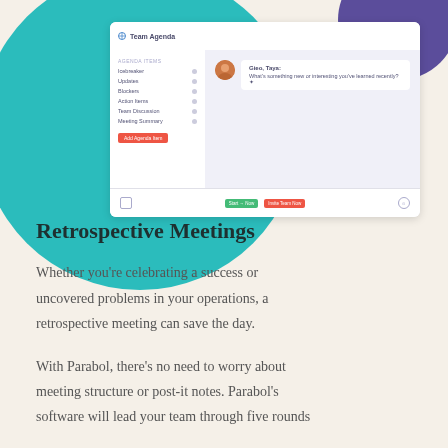[Figure (screenshot): Screenshot of the Parabol team agenda application interface showing a sidebar with agenda items, a main chat area with a user avatar (Gieo, Taya) asking 'What's something new or interesting you've learned recently?', action buttons, and decorative teal circle and purple arc shapes.]
Retrospective Meetings
Whether you're celebrating a success or uncovered problems in your operations, a retrospective meeting can save the day.
With Parabol, there's no need to worry about meeting structure or post-it notes. Parabol's software will lead your team through five rounds to...